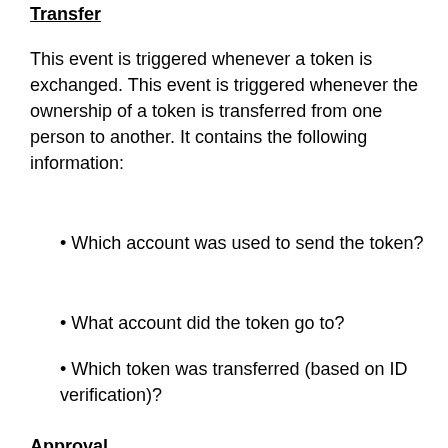Transfer
This event is triggered whenever a token is exchanged. This event is triggered whenever the ownership of a token is transferred from one person to another. It contains the following information:
Which account was used to send the token?
What account did the token go to?
Which token was transferred (based on ID verification)?
Approval
This second event is triggered when a user